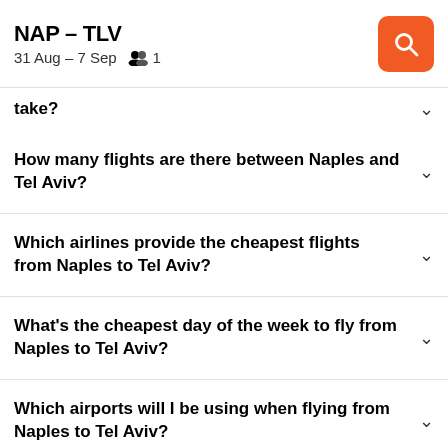NAP – TLV
31 Aug – 7 Sep   1
take?
How many flights are there between Naples and Tel Aviv?
Which airlines provide the cheapest flights from Naples to Tel Aviv?
What's the cheapest day of the week to fly from Naples to Tel Aviv?
Which airports will I be using when flying from Naples to Tel Aviv?
What's the earliest departure time from Naples to Tel Aviv?